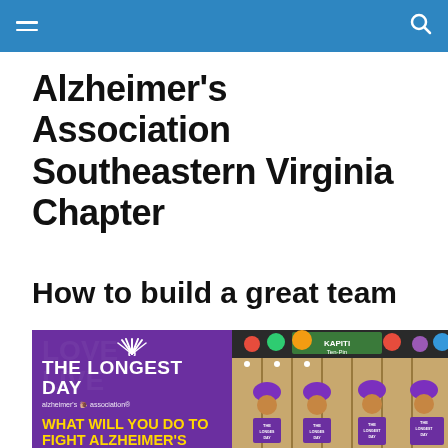Alzheimer's Association Southeastern Virginia Chapter
How to build a great team
[Figure (photo): Left side: purple promotional graphic for 'The Longest Day' by Alzheimer's Association with yellow text 'WHAT WILL YOU DO TO FIGHT ALZHEIMER'S'. Right side: photo of four women wearing purple wigs and purple 'The Longest Day' t-shirts at a bowling alley.]